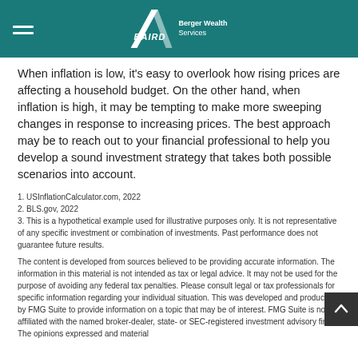BAIRD Berger Wealth Services
When inflation is low, it's easy to overlook how rising prices are affecting a household budget. On the other hand, when inflation is high, it may be tempting to make more sweeping changes in response to increasing prices. The best approach may be to reach out to your financial professional to help you develop a sound investment strategy that takes both possible scenarios into account.
1. USInflationCalculator.com, 2022
2. BLS.gov, 2022
3. This is a hypothetical example used for illustrative purposes only. It is not representative of any specific investment or combination of investments. Past performance does not guarantee future results.
The content is developed from sources believed to be providing accurate information. The information in this material is not intended as tax or legal advice. It may not be used for the purpose of avoiding any federal tax penalties. Please consult legal or tax professionals for specific information regarding your individual situation. This was developed and produced by FMG Suite to provide information on a topic that may be of interest. FMG Suite is not affiliated with the named broker-dealer, state- or SEC-registered investment advisory firm. The opinions expressed and material